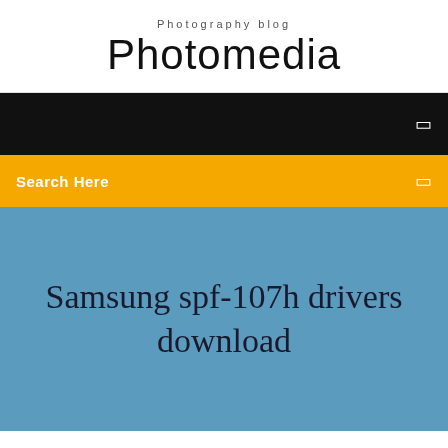Photography blog
Photomedia
[Figure (screenshot): Black navigation bar with a small white icon on the right]
Search Here
Samsung spf-107h drivers download